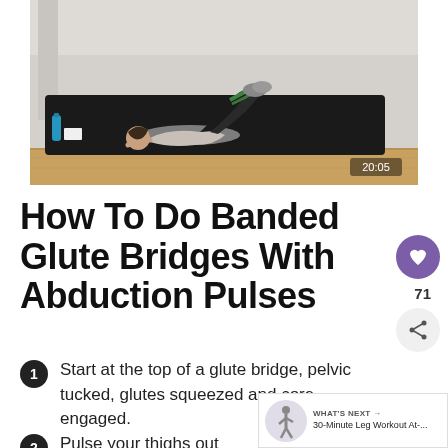[Figure (photo): A person performing a banded glute bridge exercise on a black mat in a studio setting. Timestamp 20:05 shown in bottom right of video.]
How To Do Banded Glute Bridges With Abduction Pulses
Start at the top of a glute bridge, pelvic tucked, glutes squeezed and core engaged.
Pulse your thighs out towards the